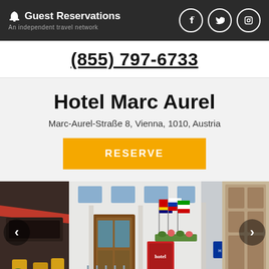Guest Reservations – An independent travel network
(855) 797-6733
Hotel Marc Aurel
Marc-Aurel-Straße 8, Vienna, 1010, Austria
RESERVE
[Figure (photo): Exterior photo of Hotel Marc Aurel showing the hotel entrance with signage, flags, and wooden doors in Vienna, Austria. Navigation arrows on left and right sides of the image.]